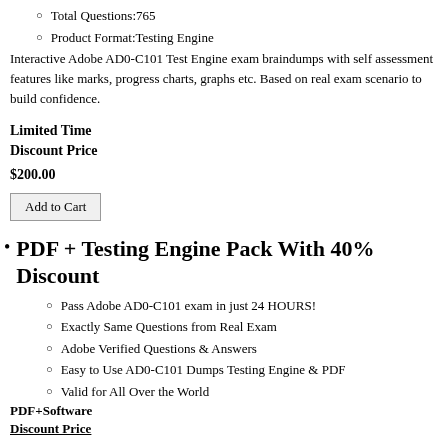Total Questions:765
Product Format:Testing Engine
Interactive Adobe AD0-C101 Test Engine exam braindumps with self assessment features like marks, progress charts, graphs etc. Based on real exam scenario to build confidence.
Limited Time Discount Price
$200.00
Add to Cart
PDF + Testing Engine Pack With 40% Discount
Pass Adobe AD0-C101 exam in just 24 HOURS!
Exactly Same Questions from Real Exam
Adobe Verified Questions & Answers
Easy to Use AD0-C101 Dumps Testing Engine & PDF
Valid for All Over the World
PDF+Software
Discount Price